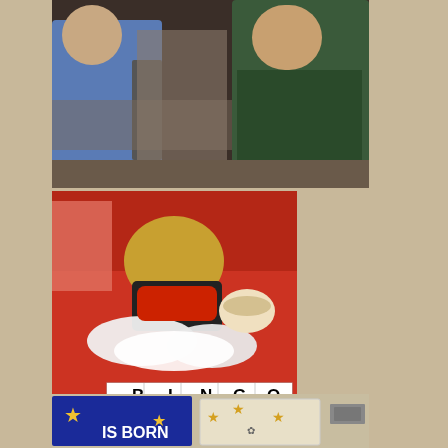[Figure (photo): People sitting around tables in a large room, appearing to play bingo. One person in blue shirt on left, another in dark green shirt on right.]
[Figure (photo): A red table with a bingo card showing numbers (B:7,12,3,13 I:23,18,25,17 N:32,44,FREE,43 G:53,51,56,49 O:70,67,75,69). There is a stuffed animal decoration, white fluffy material, small yellow ring-shaped game markers, and bowls on the table.]
[Figure (photo): Wall with blue banner reading 'IS BORN' with gold star decorations and a white banner/sign beside it, mounted on a beige/tan wall.]